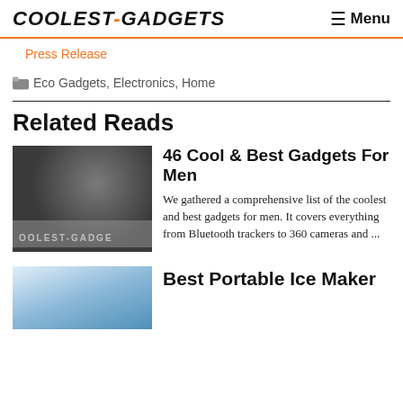COOLEST-GADGETS  Menu
Press Release
Eco Gadgets, Electronics, Home
Related Reads
[Figure (photo): Dark flat-lay photo of gadgets including laptop and camera lens with COOLEST-GADGETS watermark]
46 Cool & Best Gadgets For Men
We gathered a comprehensive list of the coolest and best gadgets for men. It covers everything from Bluetooth trackers to 360 cameras and ...
[Figure (photo): Photo of a portable ice maker appliance]
Best Portable Ice Maker